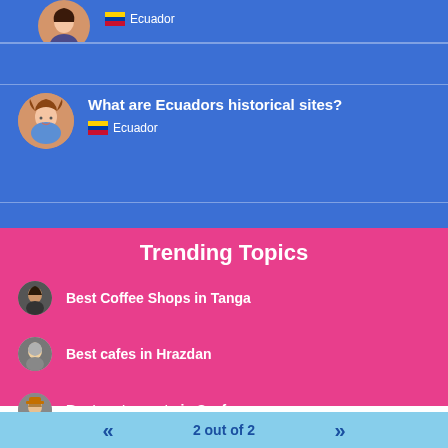[Figure (screenshot): Top blue card with avatar (woman with dark hair) partially visible, Ecuador flag icon and text 'Ecuador']
[Figure (screenshot): Blue card with avatar (woman with pigtails) and question text 'What are Ecuadors historical sites?' with Ecuador flag]
What are Ecuadors historical sites?
Ecuador
[Figure (screenshot): Pink Trending Topics section with three items: Best Coffee Shops in Tanga, Best cafes in Hrazdan, Best restaurants in Seef]
Trending Topics
Best Coffee Shops in Tanga
Best cafes in Hrazdan
Best restaurants in Seef
2 out of 2